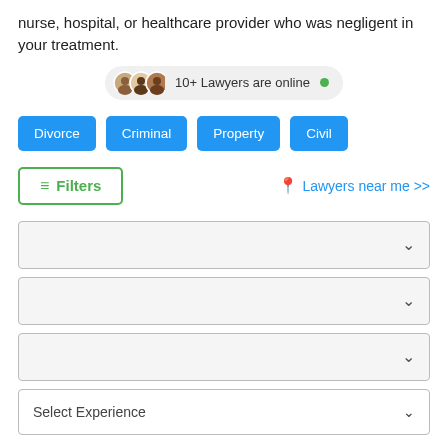nurse, hospital, or healthcare provider who was negligent in your treatment.
[Figure (infographic): Online status pill showing avatars and '10+ Lawyers are online' with a green dot]
Divorce
Criminal
Property
Civil
≡ Filters
📍 Lawyers near me >>
[Figure (screenshot): Empty dropdown box 1]
[Figure (screenshot): Empty dropdown box 2]
[Figure (screenshot): Empty dropdown box 3]
Select Experience